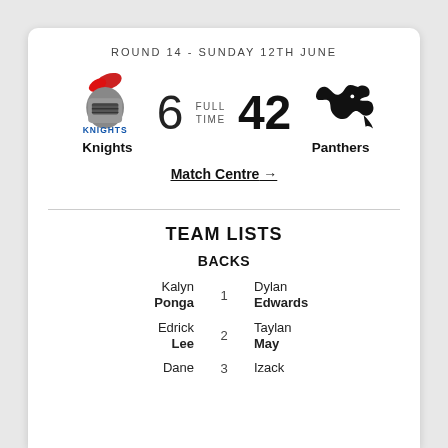ROUND 14 - SUNDAY 12TH JUNE
[Figure (logo): Newcastle Knights logo - knight helmet in red and white with KNIGHTS text in blue]
6  FULL TIME  42
[Figure (logo): Penrith Panthers logo - black panther crouching]
Knights
Panthers
Match Centre →
TEAM LISTS
BACKS
Kalyn Ponga  1  Dylan Edwards
Edrick Lee  2  Taylan May
Dane  3  Izack